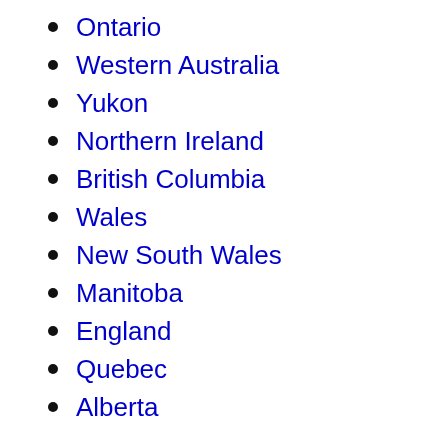Ontario
Western Australia
Yukon
Northern Ireland
British Columbia
Wales
New South Wales
Manitoba
England
Quebec
Alberta